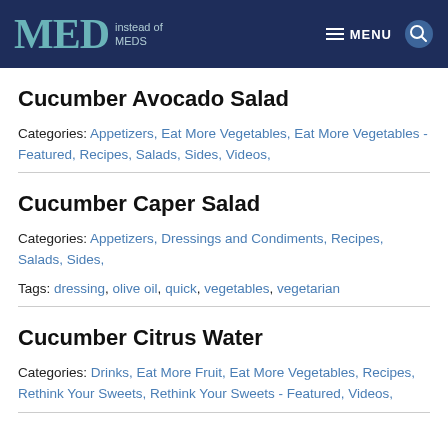MED instead of MEDS — MENU
Cucumber Avocado Salad
Categories: Appetizers, Eat More Vegetables, Eat More Vegetables - Featured, Recipes, Salads, Sides, Videos,
Cucumber Caper Salad
Categories: Appetizers, Dressings and Condiments, Recipes, Salads, Sides,
Tags: dressing, olive oil, quick, vegetables, vegetarian
Cucumber Citrus Water
Categories: Drinks, Eat More Fruit, Eat More Vegetables, Recipes, Rethink Your Sweets, Rethink Your Sweets - Featured, Videos,